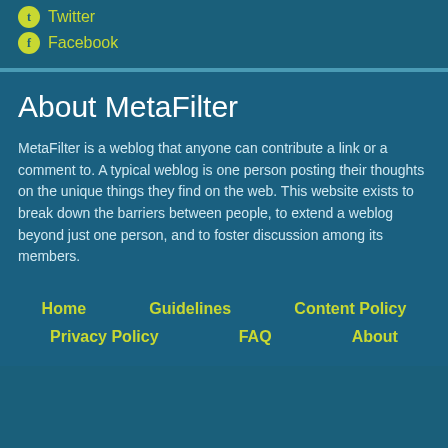Twitter
Facebook
About MetaFilter
MetaFilter is a weblog that anyone can contribute a link or a comment to. A typical weblog is one person posting their thoughts on the unique things they find on the web. This website exists to break down the barriers between people, to extend a weblog beyond just one person, and to foster discussion among its members.
Home
Guidelines
Content Policy
Privacy Policy
FAQ
About